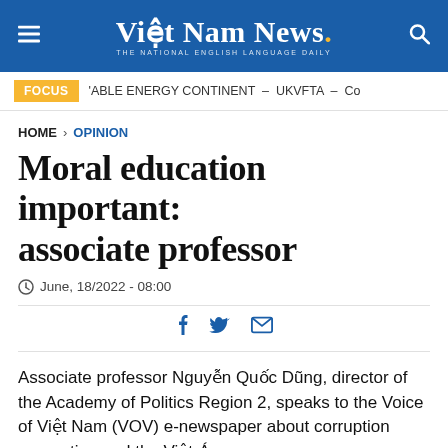Việt Nam News. THE NATIONAL ENGLISH LANGUAGE DAILY
FOCUS  ’ABLE ENERGY CONTINENT  –  UKVFTA  –  Co
HOME > OPINION
Moral education important: associate professor
June, 18/2022 - 08:00
Associate professor Nguyễn Quốc Dũng, director of the Academy of Politics Region 2, speaks to the Voice of Việt Nam (VOV) e-newspaper about corruption prevention and the Việt-Á case